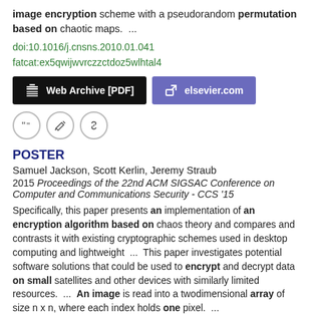image encryption scheme with a pseudorandom permutation based on chaotic maps.  ...
doi:10.1016/j.cnsns.2010.01.041
fatcat:ex5qwijwvrczzctdoz5wlhtal4
[Figure (other): Two buttons: 'Web Archive [PDF]' (black background) and 'elsevier.com' (purple background)]
[Figure (other): Three icon buttons in circles: quote, edit, and link icons]
POSTER
Samuel Jackson, Scott Kerlin, Jeremy Straub
2015 Proceedings of the 22nd ACM SIGSAC Conference on Computer and Communications Security - CCS '15
Specifically, this paper presents an implementation of an encryption algorithm based on chaos theory and compares and contrasts it with existing cryptographic schemes used in desktop computing and lightweight  ...  This paper investigates potential software solutions that could be used to encrypt and decrypt data on small satellites and other devices with similarly limited resources.  ...  An image is read into a twodimensional array of size n x n, where each index holds one pixel.  ...